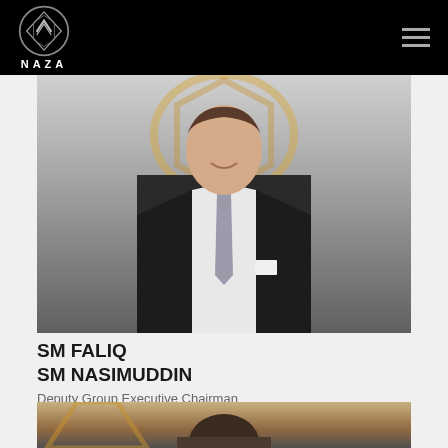NAZA
[Figure (photo): SM Faliq SM Nasimuddin in a dark suit with tie, standing in front of a gold and black logo/backdrop]
SM FALIQ SM NASIMUDDIN
Deputy Group Executive Chairman
[Figure (photo): Partial photo of another person, cropped at bottom of page, in front of a similar gold and black backdrop]